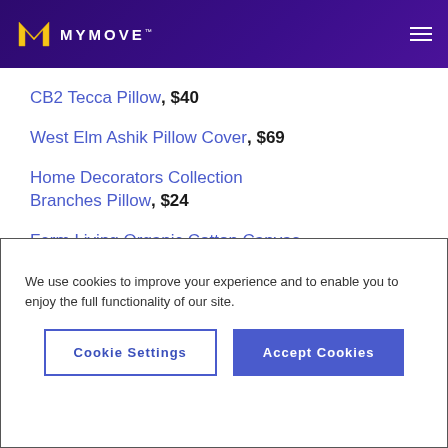MYMOVE
CB2 Tecca Pillow, $40
West Elm Ashik Pillow Cover, $69
Home Decorators Collection Branches Pillow, $24
Ferm Living Organic Cotton Canvas Fragment Pillow, $82
We use cookies to improve your experience and to enable you to enjoy the full functionality of our site.
Cookie Settings | Accept Cookies